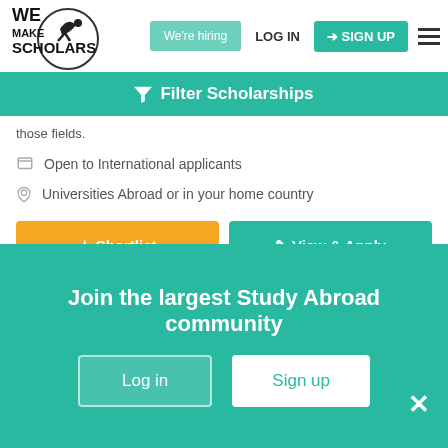[Figure (logo): We Make Scholars logo with acrobat figure]
We're hiring
LOG IN
SIGN UP
Filter Scholarships
those fields.
Open to International applicants
Universities Abroad or in your home country
Shortlist
View & Apply
Update your status of this scholarship
Applied
Admitted
Denied
Join the largest Study Abroad community
Log in
Sign up